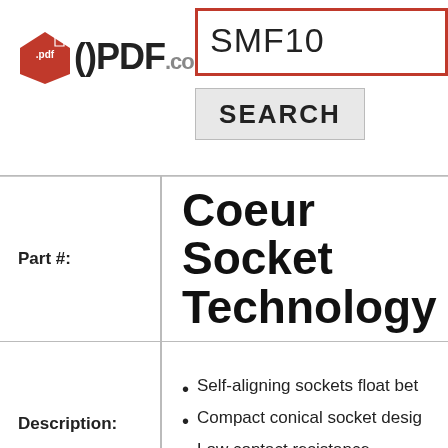[Figure (logo): OPDF.com logo with red PDF diamond icon and bold OPDF.com text]
SMF10
SEARCH
Part #:
Coeur Socket Technology
Description:
Self-aligning sockets float bet...
Compact conical socket desig...
Low contact resistance
[Figure (logo): PDF document icon with red PDF label and red download arrow]
Download Datasheet